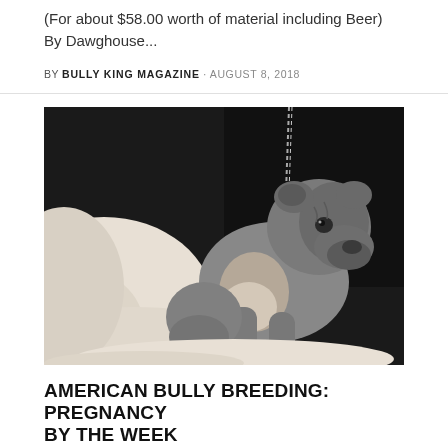(For about $58.00 worth of material including Beer)
By Dawghouse...
BY BULLY KING MAGAZINE · AUGUST 8, 2018
[Figure (photo): A gray American Bully puppy sitting on a white fluffy blanket against a dark background, with a chain visible above.]
AMERICAN BULLY BREEDING: PREGNANCY BY THE WEEK